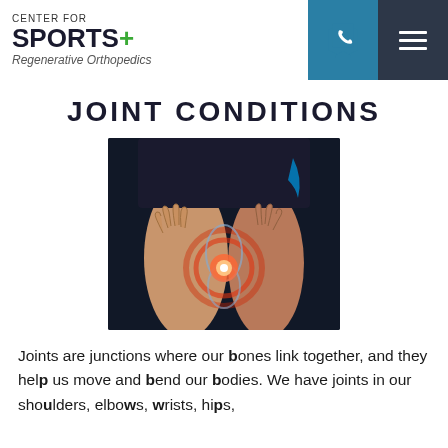CENTER FOR SPORTS+ Regenerative Orthopedics
JOINT CONDITIONS
[Figure (photo): Close-up of a person holding their knee with both hands. The knee joint shows a glowing red/orange highlight indicating pain or injury, with an x-ray-like visualization of the bone structure beneath the skin. Dark background.]
Joints are junctions where our bones link together, and they help us move and bend our bodies. We have joints in our shoulders, elbows, wrists, hips,